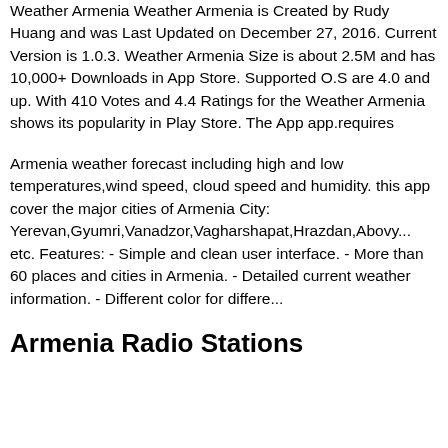Weather Armenia Weather Armenia is Created by Rudy Huang and was Last Updated on December 27, 2016. Current Version is 1.0.3. Weather Armenia Size is about 2.5M and has 10,000+ Downloads in App Store. Supported O.S are 4.0 and up. With 410 Votes and 4.4 Ratings for the Weather Armenia shows its popularity in Play Store. The App app.requires
Armenia weather forecast including high and low temperatures,wind speed, cloud speed and humidity. this app cover the major cities of Armenia City: Yerevan,Gyumri,Vanadzor,Vagharshapat,Hrazdan,Abovy... etc. Features: - Simple and clean user interface. - More than 60 places and cities in Armenia. - Detailed current weather information. - Different color for differe...
Armenia Radio Stations